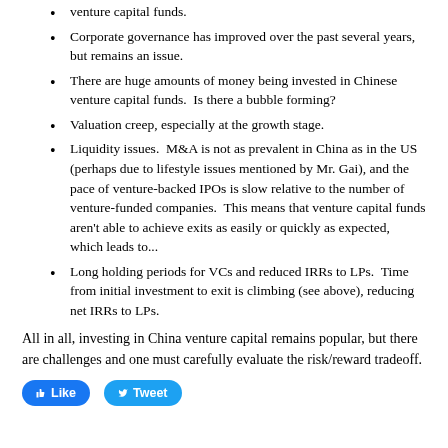venture capital funds.
Corporate governance has improved over the past several years, but remains an issue.
There are huge amounts of money being invested in Chinese venture capital funds.  Is there a bubble forming?
Valuation creep, especially at the growth stage.
Liquidity issues.  M&A is not as prevalent in China as in the US (perhaps due to lifestyle issues mentioned by Mr. Gai), and the pace of venture-backed IPOs is slow relative to the number of venture-funded companies.  This means that venture capital funds aren't able to achieve exits as easily or quickly as expected, which leads to...
Long holding periods for VCs and reduced IRRs to LPs.  Time from initial investment to exit is climbing (see above), reducing net IRRs to LPs.
All in all, investing in China venture capital remains popular, but there are challenges and one must carefully evaluate the risk/reward tradeoff.
[Figure (other): Social sharing buttons: Like and Tweet buttons]